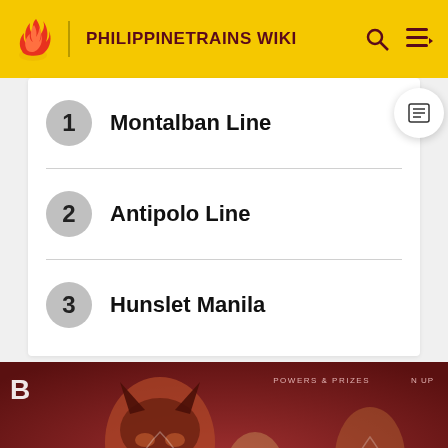PHILIPPINETRAINS WIKI
1  Montalban Line
2  Antipolo Line
3  Hunslet Manila
[Figure (photo): Advertisement banner showing costumed characters including a person in a Batwoman-style mask, a blonde figure, and a young man, against a dark red background. Text reads 'INTRODUCING N LAB' and 'POWERS & PRIZES' at top right.]